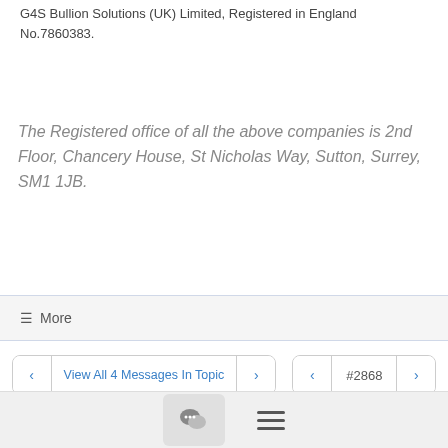G4S Bullion Solutions (UK) Limited, Registered in England No.7860383.
The Registered office of all the above companies is 2nd Floor, Chancery House, St Nicholas Way, Sutton, Surrey, SM1 1JB.
≡ More
View All 4 Messages In Topic   #2868
Join users@lists.zephyrproject.org to automatically receive all group messages.